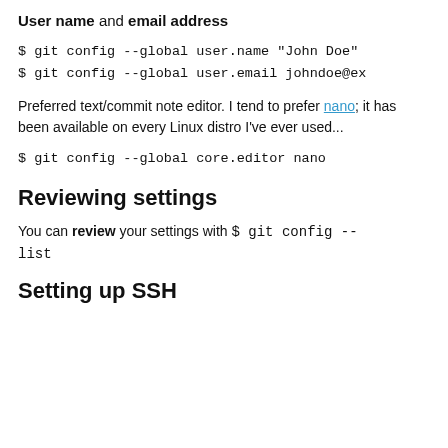User name and email address
$ git config --global user.name "John Doe"
$ git config --global user.email johndoe@ex
Preferred text/commit note editor. I tend to prefer nano; it has been available on every Linux distro I've ever used...
$ git config --global core.editor nano
Reviewing settings
You can review your settings with $ git config --list
Setting up SSH